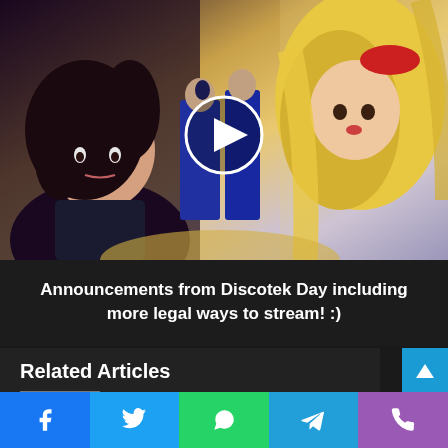[Figure (screenshot): Anime video thumbnail showing manga-style characters with long hair on a yellow/purple background, with a white play button circle overlay]
Announcements from Discotek Day including more legal ways to stream! :)
Related Articles
[Figure (other): Social media share bar with Facebook, Twitter, WhatsApp, Telegram, and phone icons]